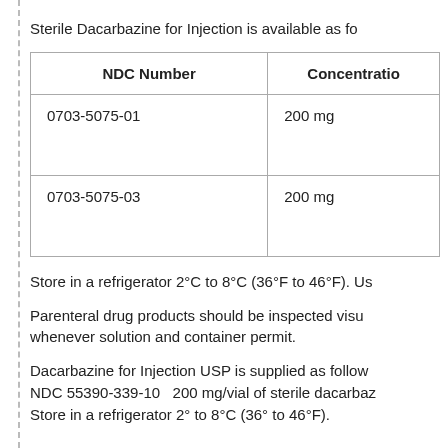Sterile Dacarbazine for Injection is available as fo
| NDC Number | Concentratio |
| --- | --- |
| 0703-5075-01 | 200 mg |
| 0703-5075-03 | 200 mg |
Store in a refrigerator 2°C to 8°C (36°F to 46°F). Us
Parenteral drug products should be inspected visu whenever solution and container permit.
Dacarbazine for Injection USP is supplied as follow NDC 55390-339-10   200 mg/vial of sterile dacarbaz Store in a refrigerator 2° to 8°C (36° to 46°F).